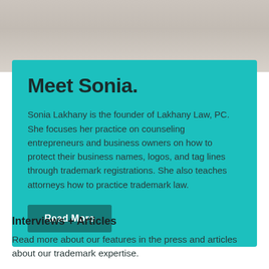[Figure (photo): Background banner photo, partially visible, showing a blurred office/desk scene in muted tones]
Meet Sonia.
Sonia Lakhany is the founder of Lakhany Law, PC. She focuses her practice on counseling entrepreneurs and business owners on how to protect their business names, logos, and tag lines through trademark registrations. She also teaches attorneys how to practice trademark law.
Read More
Interviews + Articles
Read more about our features in the press and articles about our trademark expertise.